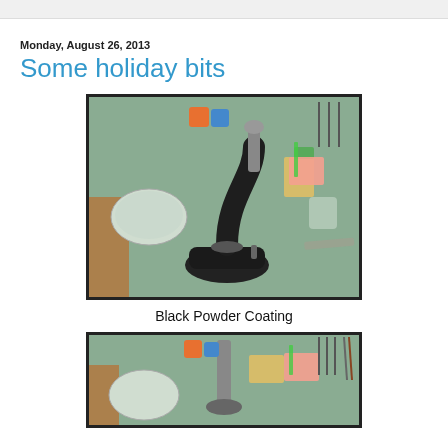Monday, August 26, 2013
Some holiday bits
[Figure (photo): A black powder-coated instrument (appears to be a watchmaker's or jeweler's press/tool) sitting on a green work mat surrounded by workshop tools, containers, and supplies on a workbench.]
Black Powder Coating
[Figure (photo): A close-up view of the same workshop bench showing tools, containers, sticky notes, and equipment from a different angle or zoom level.]